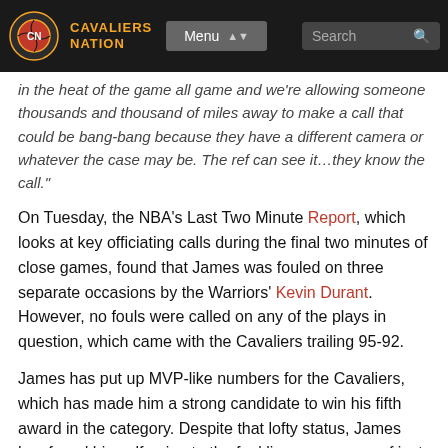Cavaliers Nation | Menu | Search
in the heat of the game all game and we're allowing someone thousands and thousand of miles away to make a call that could be bang-bang because they have a different camera or whatever the case may be. The ref can see it…they know the call."
On Tuesday, the NBA's Last Two Minute Report, which looks at key officiating calls during the final two minutes of close games, found that James was fouled on three separate occasions by the Warriors' Kevin Durant. However, no fouls were called on any of the plays in question, which came with the Cavaliers trailing 95-92.
James has put up MVP-like numbers for the Cavaliers, which has made him a strong candidate to win his fifth award in the category. Despite that lofty status, James has found himself going to the foul line an average of just 5.9 times per game. That's the second-lowest number of his storied career, with only his rookie-year average of 5.8